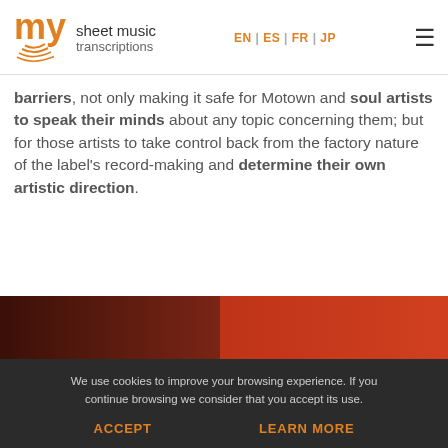my sheet music transcriptions — EN | ES | FR | JP
barriers, not only making it safe for Motown and soul artists to speak their minds about any topic concerning them; but for those artists to take control back from the factory nature of the label's record-making and determine their own artistic direction.
[Figure (photo): Partial photo of a person against a red/dark background, cropped at bottom of page]
We use cookies to improve your browsing experience. If you continue browsing we consider that you accept its use.
ACCEPT    LEARN MORE